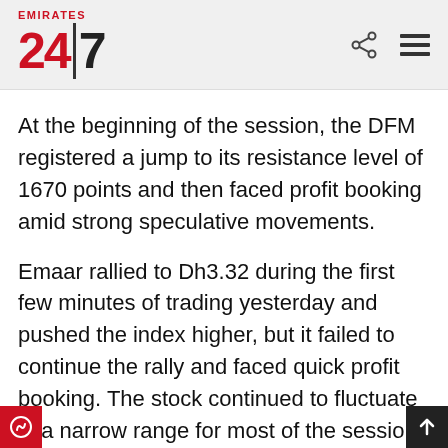Emirates 24|7
At the beginning of the session, the DFM registered a jump to its resistance level of 1670 points and then faced profit booking amid strong speculative movements.
Emaar rallied to Dh3.32 during the first few minutes of trading yesterday and pushed the index higher, but it failed to continue the rally and faced quick profit booking. The stock continued to fluctuate in a narrow range for most of the session until the last 15 minutes of trading, when a sell-off appeared and dragged it to its lowest this week.